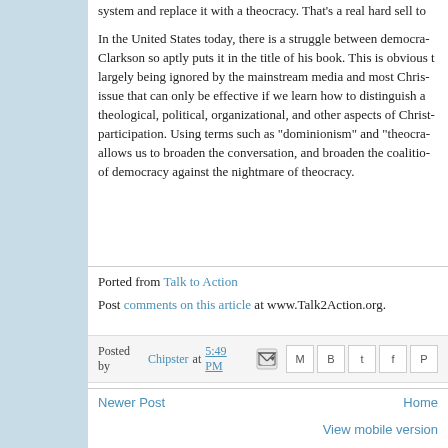system and replace it with a theocracy. That's a real hard sell to
In the United States today, there is a struggle between democra... Clarkson so aptly puts it in the title of his book. This is obvious t... largely being ignored by the mainstream media and most Chris... issue that can only be effective if we learn how to distinguish a... theological, political, organizational, and other aspects of Christ... participation. Using terms such as "dominionism" and "theocra... allows us to broaden the conversation, and broaden the coalitio... of democracy against the nightmare of theocracy.
Ported from Talk to Action
Post comments on this article at www.Talk2Action.org.
Posted by Chipster at 5:49 PM
Newer Post
Home
View mobile version